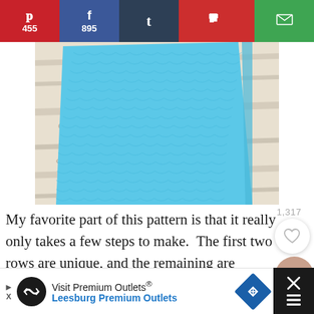[Figure (infographic): Social media share bar with Pinterest (455), Facebook (895), Tumblr, Flipboard, and Email buttons]
[Figure (photo): Close-up photo of blue crochet fabric/dishcloth on a white wooden surface]
1,317
My favorite part of this pattern is that it really only takes a few steps to make.  The first two rows are unique, and the remaining are identical, so it becomes a simple and lovely little project to
[Figure (infographic): Advertisement banner: Visit Premium Outlets® Leesburg Premium Outlets with logos and navigation arrow icon]